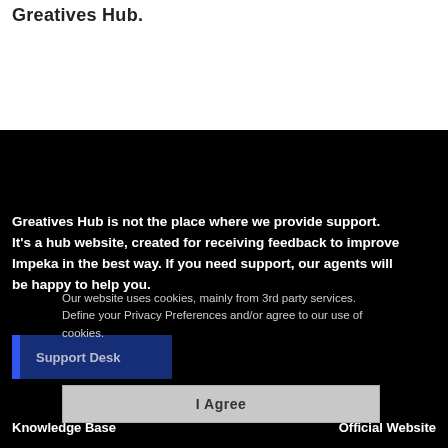Greatives Hub.
Greatives Hub is not the place where we provide support. It's a hub website, created for receiving feedback to improve Impeka in the best way. If you need support, our agents will be happy to help you.
Our website uses cookies, mainly from 3rd party services. Define your Privacy Preferences and/or agree to our use of cookies.
Support Desk
I Agree
Knowledge Base
Official Website